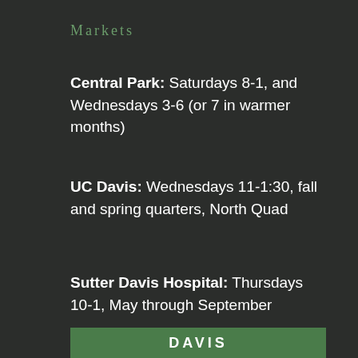Markets
Central Park: Saturdays 8-1, and Wednesdays 3-6 (or 7 in warmer months)
UC Davis: Wednesdays 11-1:30, fall and spring quarters, North Quad
Sutter Davis Hospital: Thursdays 10-1, May through September
Sutter Medical Center, Sacramento: Thursdays 2:30-5:30
DAVIS